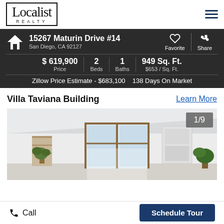[Figure (logo): Localist Realty logo in bordered box]
15267 Maturin Drive #14
San Diego, CA 92127
$ 619,900 Price | 2 Beds | 1 Baths | 949 Sq. Ft. $653 / Sq. Ft.
Zillow Price Estimate - $683,100   138 Days On Market
Villa Taviana Building
Learn More
[Figure (photo): Interior room photo of apartment, showing white walls, wood-framed window, plants, and artwork. Counter shows 1/9.]